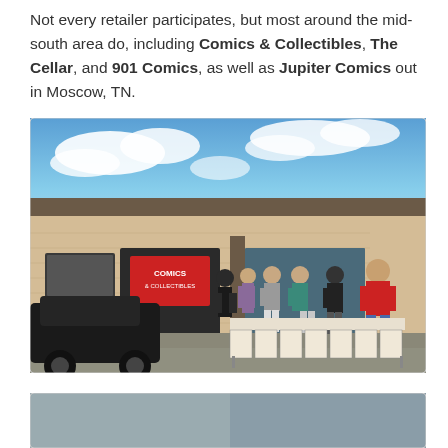Not every retailer participates, but most around the mid-south area do, including Comics & Collectibles, The Cellar, and 901 Comics, as well as Jupiter Comics out in Moscow, TN.
[Figure (photo): Exterior photo of Comics & Collectibles store showing several people browsing long boxes of comics set up outside the storefront under a partly cloudy blue sky. A black car is parked in the foreground.]
[Figure (photo): Partial photo at bottom of page, cropped.]